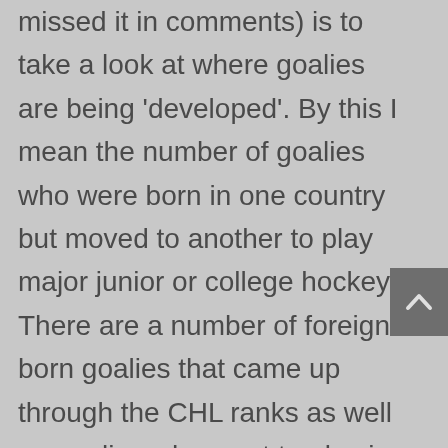missed it in comments) is to take a look at where goalies are being 'developed'. By this I mean the number of goalies who were born in one country but moved to another to play major junior or college hockey. There are a number of foreign born goalies that came up through the CHL ranks as well as goalies who went to play in the US college system, or in a European Elite league as an underager.